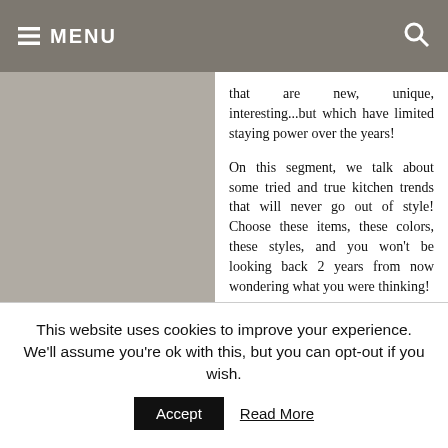MENU
that are new, unique, interesting...but which have limited staying power over the years!
On this segment, we talk about some tried and true kitchen trends that will never go out of style! Choose these items, these colors, these styles, and you won't be looking back 2 years from now wondering what you were thinking!
This website uses cookies to improve your experience. We'll assume you're ok with this, but you can opt-out if you wish.
Accept  Read More